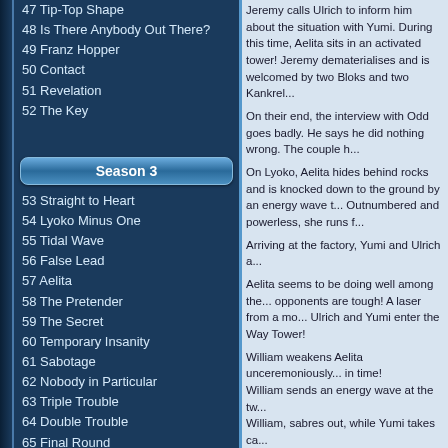47 Tip-Top Shape
48 Is There Anybody Out There?
49 Franz Hopper
50 Contact
51 Revelation
52 The Key
Season 3
53 Straight to Heart
54 Lyoko Minus One
55 Tidal Wave
56 False Lead
57 Aelita
58 The Pretender
59 The Secret
60 Temporary Insanity
61 Sabotage
62 Nobody in Particular
63 Triple Trouble
64 Double Trouble
65 Final Round
Season 4
66 William Returns
67 Double Take
68 Opening Act
69 Wreck Room
70 Skidbladnir
71 Maiden Voyage
72 Crash Course
Jeremy calls Ulrich to inform him about the situation with Yumi. During this time, Aelita sits in an activated tower! Jeremy dematerialises and is welcomed by two Bloks and two Kankrelats.
On their end, the interview with Odd goes badly. He says he did nothing wrong. The couple h...
On Lyoko, Aelita hides behind rocks and is knocked down to the ground by an energy wave t... Outnumbered and powerless, she runs f...
Arriving at the factory, Yumi and Ulrich a...
Aelita seems to be doing well among the... opponents are tough! A laser from a mo... Ulrich and Yumi enter the Way Tower!
William weakens Aelita unceremoniously... in time! William sends an energy wave at the tw... William, sabres out, while Yumi takes ca...
At the pool, Bringa shows off to her audi... interested in him anymore, so he gets up...
On Lyoko, Jeremy announces some ver... William intensifies his attacks on Ulrich! ... armband and delivering a violent kick to...
Odd then arrives at the factory. Pushed b... bug!
Meanwhile, Yumi can't get rid of the mo... destroying a Kankrelat with an energy fie...
For Ulrich his luck takes a turn. William d...